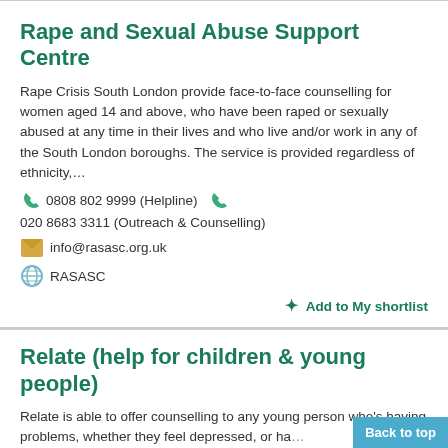Rape and Sexual Abuse Support Centre
Rape Crisis South London provide face-to-face counselling for women aged 14 and above, who have been raped or sexually abused at any time in their lives and who live and/or work in any of the South London boroughs. The service is provided regardless of ethnicity,…
0808 802 9999 (Helpline)   020 8683 3311 (Outreach & Counselling)
info@rasasc.org.uk
RASASC
+ Add to My shortlist
Relate (help for children & young people)
Relate is able to offer counselling to any young person who's having problems, whether they feel depressed, or ha… with their parents at school. Come and bo…
Back to top